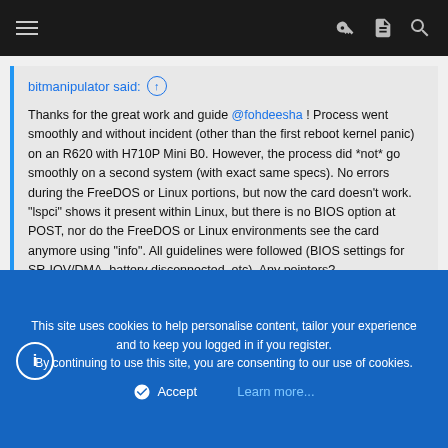Navigation bar with menu, key, document, and search icons
bitmanipulator said: ↑

Thanks for the great work and guide @fohdeesha ! Process went smoothly and without incident (other than the first reboot kernel panic) on an R620 with H710P Mini B0. However, the process did *not* go smoothly on a second system (with exact same specs). No errors during the FreeDOS or Linux portions, but now the card doesn't work. "lspci" shows it present within Linux, but there is no BIOS option at POST, nor do the FreeDOS or Linux environments see the card anymore using "info". All guidelines were followed (BIOS settings for SR-IOV/DMA, battery disconnected, etc). Any pointers?
Follow the guide again starting from the PB0CROSS command in freedos and watch the output of each command looking for errors but you'll probably be good. Sometimes megarec
This site uses cookies to help personalise content, tailor your experience and to keep you logged in if you register.
By continuing to use this site, you are consenting to our use of cookies.
Accept   Learn more...